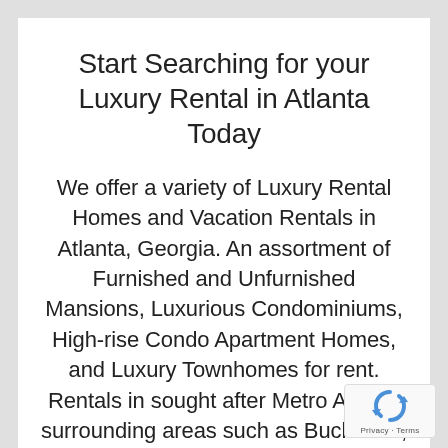Start Searching for your Luxury Rental in Atlanta Today
We offer a variety of Luxury Rental Homes and Vacation Rentals in Atlanta, Georgia. An assortment of Furnished and Unfurnished Mansions, Luxurious Condominiums, High-rise Condo Apartment Homes, and Luxury Townhomes for rent. Rentals in sought after Metro Atlanta surrounding areas such as Buckhead, Brookhaven, Morningside, Midtown, Inman Park, Virginia Highland, Ponce City Market,